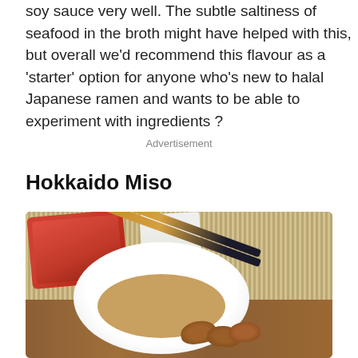soy sauce very well. The subtle saltiness of seafood in the broth might have helped with this, but overall we'd recommend this flavour as a 'starter' option for anyone who's new to halal Japanese ramen and wants to be able to experiment with ingredients ?
Advertisement
Hokkaido Miso
[Figure (photo): A bowl of ramen with chopsticks resting on top, containing noodles in broth with gyoza pieces, alongside a red Hokkaido Miso ramen package and a Japanese text package on a bamboo mat and wooden table background.]